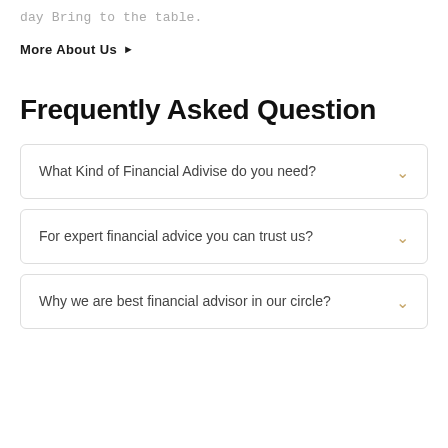day Bring to the table.
More About Us ▶
Frequently Asked Question
What Kind of Financial Adivise do you need?
For expert financial advice you can trust us?
Why we are best financial advisor in our circle?